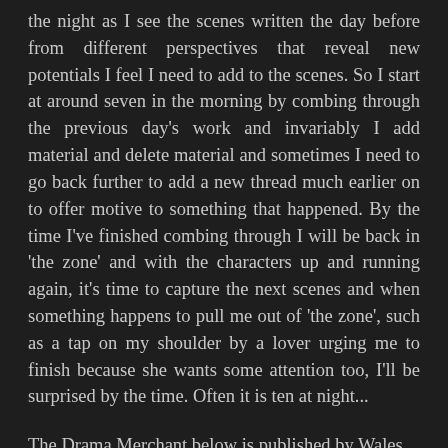the night as I see the scenes written the day before from different perspectives that reveal new potentials I feel I need to add to the scenes. So I start at around seven in the morning by combing through the previous day's work and invariably I add material and delete material and sometimes I need to go back further to add a new thread much earlier on to offer motive to something that happened. By the time I've finished combing through I will be back in 'the zone' and with the characters up and running again, it's time to capture the next scenes and when something happens to pull me out of 'the zone', such as a tap on my shoulder by a lover urging me to finish because she wants some attention too, I'll be surprised by the time. Often it is ten at night...
The Drama Merchant below is published by Wales Press.